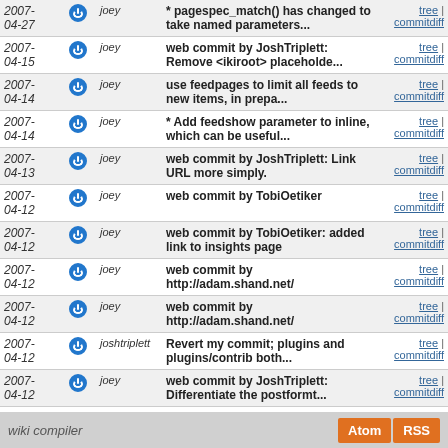| Date |  | User | Message | Links |
| --- | --- | --- | --- | --- |
| 2007-04-27 |  | joey | * pagespec_match() has changed to take named parameters... | tree | commitdiff |
| 2007-04-15 |  | joey | web commit by JoshTriplett: Remove <ikiroot> placeholde... | tree | commitdiff |
| 2007-04-14 |  | joey | use feedpages to limit all feeds to new items, in prepa... | tree | commitdiff |
| 2007-04-14 |  | joey | * Add feedshow parameter to inline, which can be useful... | tree | commitdiff |
| 2007-04-13 |  | joey | web commit by JoshTriplett: Link URL more simply. | tree | commitdiff |
| 2007-04-12 |  | joey | web commit by TobiOetiker | tree | commitdiff |
| 2007-04-12 |  | joey | web commit by TobiOetiker: added link to insights page | tree | commitdiff |
| 2007-04-12 |  | joey | web commit by http://adam.shand.net/ | tree | commitdiff |
| 2007-04-12 |  | joey | web commit by http://adam.shand.net/ | tree | commitdiff |
| 2007-04-12 |  | joshtriplett | Revert my commit; plugins and plugins/contrib both... | tree | commitdiff |
| 2007-04-12 |  | joey | web commit by JoshTriplett: Differentiate the postformt... | tree | commitdiff |
next
wiki compiler  Atom RSS